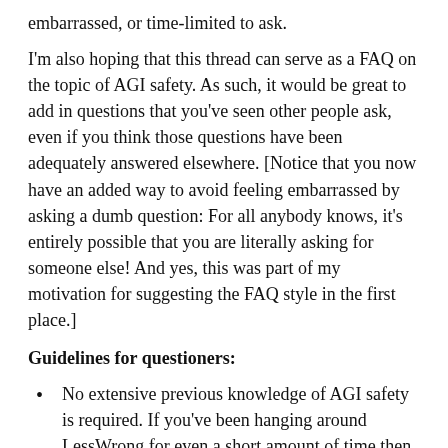embarrassed, or time-limited to ask.
I'm also hoping that this thread can serve as a FAQ on the topic of AGI safety. As such, it would be great to add in questions that you've seen other people ask, even if you think those questions have been adequately answered elsewhere. [Notice that you now have an added way to avoid feeling embarrassed by asking a dumb question: For all anybody knows, it's entirely possible that you are literally asking for someone else! And yes, this was part of my motivation for suggesting the FAQ style in the first place.]
Guidelines for questioners:
No extensive previous knowledge of AGI safety is required. If you've been hanging around LessWrong for even a short amount of time then you probably already know enough about the topic to most any